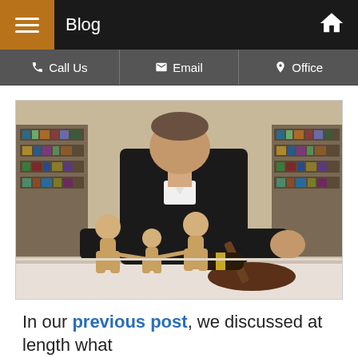Blog
Call Us | Email | Office
[Figure (photo): A judge in black robes sits behind a desk with a gavel and sound block, with three wooden family figure cutouts (two adults and a child) standing in the foreground on the desk. Bookshelves are visible in the background.]
In our previous post, we discussed at length what